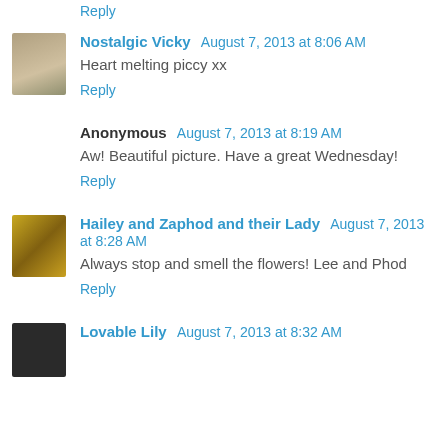Reply
Nostalgic Vicky  August 7, 2013 at 8:06 AM
Heart melting piccy xx
Reply
Anonymous  August 7, 2013 at 8:19 AM
Aw! Beautiful picture. Have a great Wednesday!
Reply
Hailey and Zaphod and their Lady  August 7, 2013 at 8:28 AM
Always stop and smell the flowers! Lee and Phod
Reply
Lovable Lily  August 7, 2013 at 8:32 AM